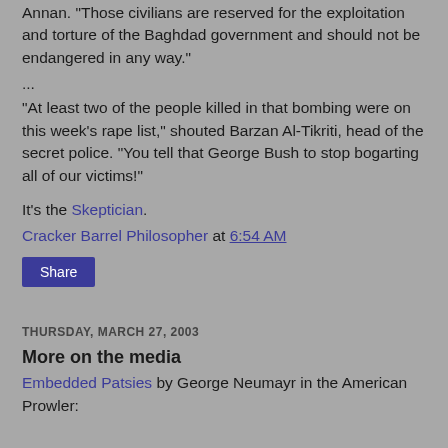Annan. "Those civilians are reserved for the exploitation and torture of the Baghdad government and should not be endangered in any way."
...
"At least two of the people killed in that bombing were on this week's rape list," shouted Barzan Al-Tikriti, head of the secret police. "You tell that George Bush to stop bogarting all of our victims!"
It's the Skeptician.
Cracker Barrel Philosopher at 6:54 AM
Share
THURSDAY, MARCH 27, 2003
More on the media
Embedded Patsies by George Neumayr in the American Prowler: